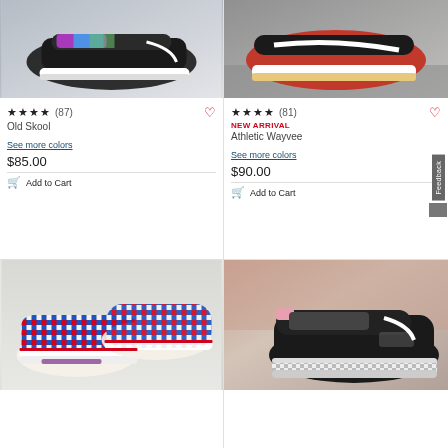[Figure (photo): Vans Old Skool sneaker with colorful pattern on black background, top-down view on light gray surface]
★★★★★ (87)
Old Skool
See more colors
$85.00
Add to Cart
[Figure (photo): Vans Athletic Wayvee sneaker in red/black/white colorway, side profile on concrete surface]
★★★★★ (81)
NEW ARRIVAL
Athletic Wayvee
See more colors
$90.00
Add to Cart
[Figure (photo): Vans Authentic slip-on sneaker with red/blue/white checkerboard pattern, Mongoose collaboration]
[Figure (photo): Vans Old Skool sneaker in black/white with checkered sole detail, side profile view]